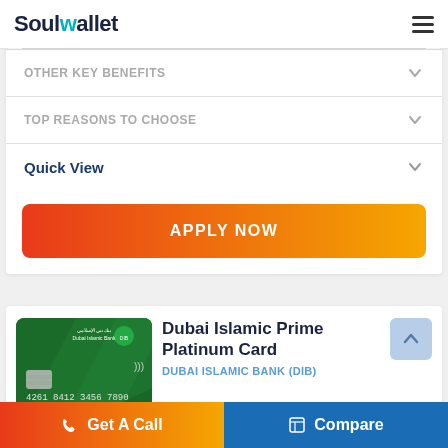SoulWallet
OTHER KEY BENEFITS
TOP REASONS TO CHOOSE
Quick View
APPLY NOW
[Figure (photo): Dubai Islamic Prime Platinum Card - green credit card with Dubai Islamic Bank logo, card number 4261 8412 3456 7890, VISA branding]
Dubai Islamic Prime Platinum Card
DUBAI ISLAMIC BANK (DIB)
Get A Call
Compare